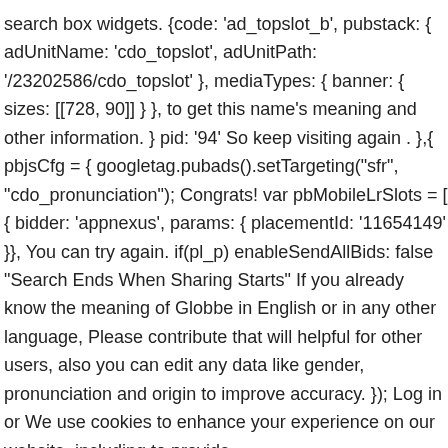search box widgets. {code: 'ad_topslot_b', pubstack: { adUnitName: 'cdo_topslot', adUnitPath: '/23202586/cdo_topslot' }, mediaTypes: { banner: { sizes: [[728, 90]] } }, to get this name's meaning and other information. } pid: '94' So keep visiting again . },{ pbjsCfg = { googletag.pubads().setTargeting("sfr", "cdo_pronunciation"); Congrats! var pbMobileLrSlots = [ { bidder: 'appnexus', params: { placementId: '11654149' }}, You can try again. if(pl_p) enableSendAllBids: false "Search Ends When Sharing Starts" If you already know the meaning of Globbe in English or in any other language, Please contribute that will helpful for other users, also you can edit any data like gender, pronunciation and origin to improve accuracy. }); Log in or We use cookies to enhance your experience on our website, including to provide